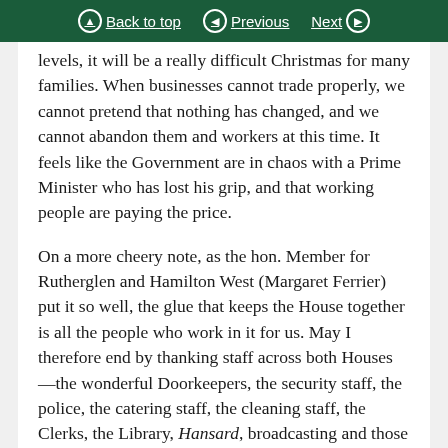Back to top | Previous | Next
levels, it will be a really difficult Christmas for many families. When businesses cannot trade properly, we cannot pretend that nothing has changed, and we cannot abandon them and workers at this time. It feels like the Government are in chaos with a Prime Minister who has lost his grip, and that working people are paying the price.
On a more cheery note, as the hon. Member for Rutherglen and Hamilton West (Margaret Ferrier) put it so well, the glue that keeps the House together is all the people who work in it for us. May I therefore end by thanking staff across both Houses—the wonderful Doorkeepers, the security staff, the police, the catering staff, the cleaning staff, the Clerks, the Library, Hansard, broadcasting and those